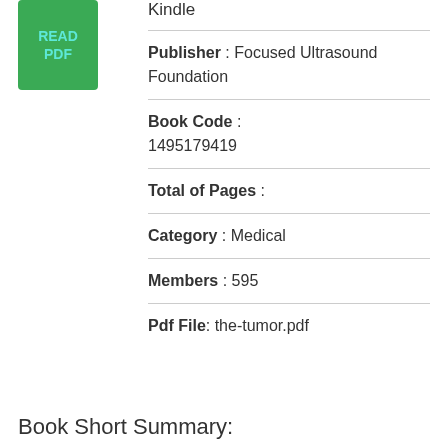[Figure (other): Green button with text READ PDF]
Kindle
Publisher : Focused Ultrasound Foundation
Book Code : 1495179419
Total of Pages :
Category : Medical
Members : 595
Pdf File: the-tumor.pdf
Book Short Summary: